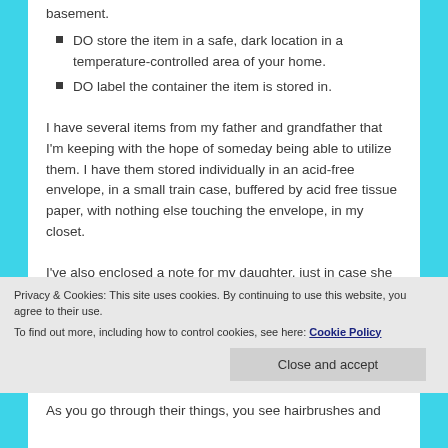DO store the item in a safe, dark location in a temperature-controlled area of your home.
DO label the container the item is stored in.
I have several items from my father and grandfather that I'm keeping with the hope of someday being able to utilize them. I have them stored individually in an acid-free envelope, in a small train case, buffered by acid free tissue paper, with nothing else touching the envelope, in my closet.
I've also enclosed a note for my daughter, just in case she finds those one day and wonders what they are and why they are packaged in that manner.
Privacy & Cookies: This site uses cookies. By continuing to use this website, you agree to their use.
To find out more, including how to control cookies, see here: Cookie Policy
As you go through their things, you see hairbrushes and